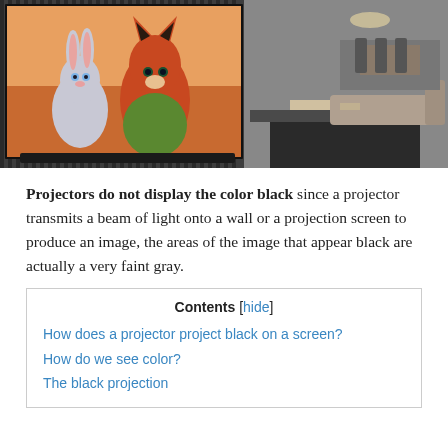[Figure (photo): A large projection screen in a modern living room displaying an animated movie (Zootopia characters — a rabbit and a fox), with a dark home theater setup and furniture visible.]
Projectors do not display the color black since a projector transmits a beam of light onto a wall or a projection screen to produce an image, the areas of the image that appear black are actually a very faint gray.
| Contents [hide] |
| --- |
| How does a projector project black on a screen? |
| How do we see color? |
| The black projection |